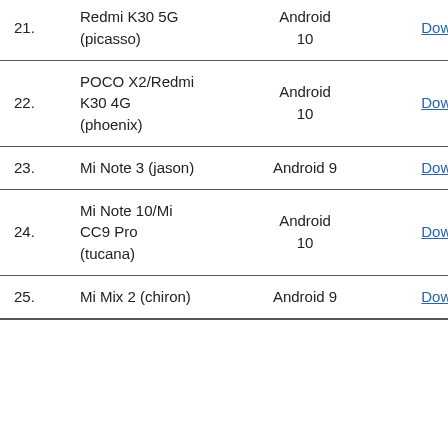| # | Device | OS | Link |
| --- | --- | --- | --- |
| 21. | Redmi K30 5G (picasso) | Android 10 | Download |
| 22. | POCO X2/Redmi K30 4G (phoenix) | Android 10 | Download |
| 23. | Mi Note 3 (jason) | Android 9 | Download |
| 24. | Mi Note 10/Mi CC9 Pro (tucana) | Android 10 | Download |
| 25. | Mi Mix 2 (chiron) | Android 9 | Download |